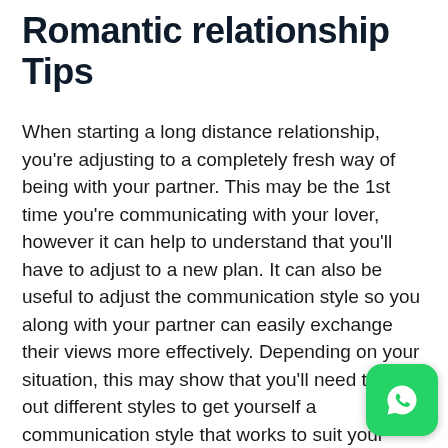Romantic relationship Tips
When starting a long distance relationship, you're adjusting to a completely fresh way of being with your partner. This may be the 1st time you're communicating with your lover, however it can help to understand that you'll have to adjust to a new plan. It can also be useful to adjust the communication style so you along with your partner can easily exchange their views more effectively. Depending on your situation, this may show that you'll need to test out different styles to get yourself a communication style that works to suit your needs both.
While technology can help you connect better together with your significant other, you don't want to rely on that too much. Some long range romantic relationship tips involve sending handwritten love tips or spritzes of sc